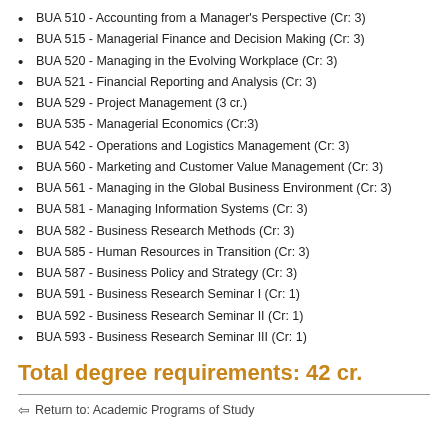BUA 510 - Accounting from a Manager's Perspective (Cr: 3)
BUA 515 - Managerial Finance and Decision Making (Cr: 3)
BUA 520 - Managing in the Evolving Workplace (Cr: 3)
BUA 521 - Financial Reporting and Analysis (Cr: 3)
BUA 529 - Project Management (3 cr.)
BUA 535 - Managerial Economics (Cr:3)
BUA 542 - Operations and Logistics Management (Cr: 3)
BUA 560 - Marketing and Customer Value Management (Cr: 3)
BUA 561 - Managing in the Global Business Environment (Cr: 3)
BUA 581 - Managing Information Systems (Cr: 3)
BUA 582 - Business Research Methods (Cr: 3)
BUA 585 - Human Resources in Transition (Cr: 3)
BUA 587 - Business Policy and Strategy (Cr: 3)
BUA 591 - Business Research Seminar I (Cr: 1)
BUA 592 - Business Research Seminar II (Cr: 1)
BUA 593 - Business Research Seminar III (Cr: 1)
Total degree requirements: 42 cr.
Return to: Academic Programs of Study